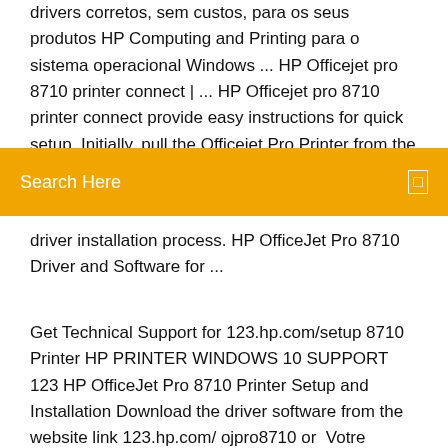drivers corretos, sem custos, para os seus produtos HP Computing and Printing para o sistema operacional Windows ... HP Officejet pro 8710 printer connect | ... HP Officejet pro 8710 printer connect provide easy instructions for quick setup. Initially, pull the Officejet Pro Printer from the printer box. Then clean the surface and place the printer. Next, you need to
Search Here
driver installation process. HP OfficeJet Pro 8710 Driver and Software for ...
Get Technical Support for 123.hp.com/setup 8710 Printer HP PRINTER WINDOWS 10 SUPPORT 123 HP OfficeJet Pro 8710 Printer Setup and Installation Download the driver software from the website link 123.hp.com/ ojpro8710 or  Votre cartouches compatible ou recyclé ne semble pas fonctionné? Ces produits sont utilisés par un grand nombre de consommateurs